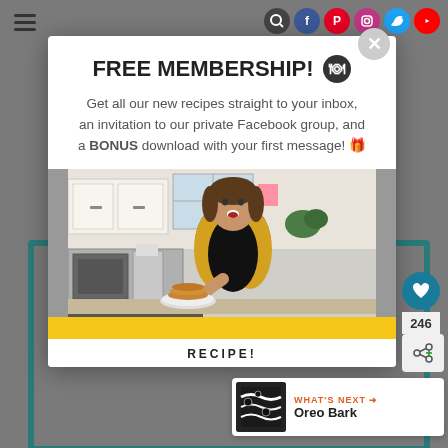FREE MEMBERSHIP! 🍽
Get all our new recipes straight to your inbox, an invitation to our private Facebook group, and a BONUS download with your first message! 🎁
[Figure (photo): Woman in black top and yellow cardigan standing in kitchen holding a plate of food, with a skillet in the foreground]
RECIPE!
246
WHAT'S NEXT ➜ Oreo Bark